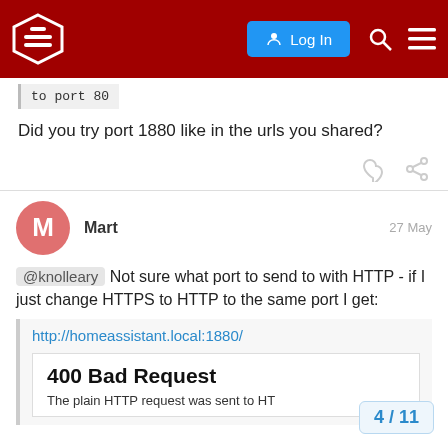Node-RED Forum - Log In
to port 80
Did you try port 1880 like in the urls you shared?
Mart  27 May
@knolleary Not sure what port to send to with HTTP - if I just change HTTPS to HTTP to the same port I get:
http://homeassistant.local:1880/
400 Bad Request
The plain HTTP request was sent to HT
4 / 11